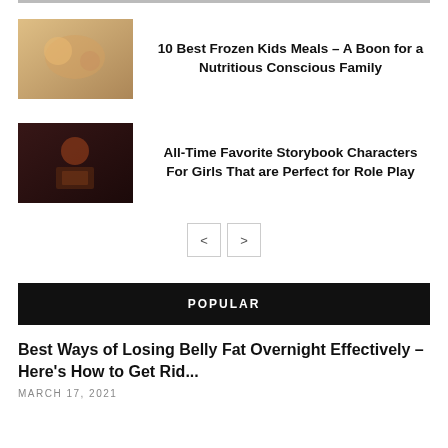[Figure (photo): Partial image visible at top of page, cropped]
[Figure (photo): Child eating a meal, colorful food scene]
10 Best Frozen Kids Meals – A Boon for a Nutritious Conscious Family
[Figure (photo): Girl with red hair reading a book in dark setting]
All-Time Favorite Storybook Characters For Girls That are Perfect for Role Play
< >
POPULAR
Best Ways of Losing Belly Fat Overnight Effectively – Here's How to Get Rid...
MARCH 17, 2021